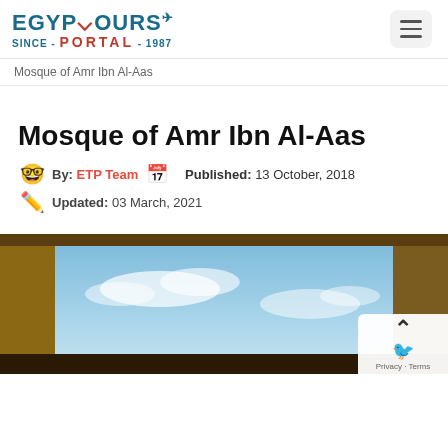Egypt Tours Portal - Since 1987
Mosque of Amr Ibn Al-Aas
Mosque of Amr Ibn Al-Aas
By: ETP Team  Published: 13 October, 2018
Updated: 03 March, 2021
[Figure (photo): Looking up through an arched doorway of a mosque toward a bright blue sky with clouds]